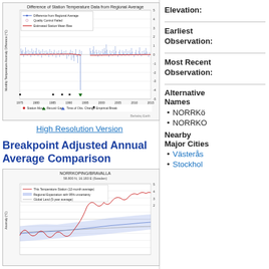[Figure (continuous-plot): Line chart showing monthly temperature anomaly difference from regional average for a station, with quality control markers, estimated station mean bias (red line), and event markers (station move, record gap, time of observation change, empirical break). X-axis spans 1975-2015, Y-axis from -5 to 5°C.]
High Resolution Version
Breakpoint Adjusted Annual Average Comparison
[Figure (continuous-plot): Time series chart showing This Temperature Station (12-month average) in red, Regional Expectation with 95% uncertainty in blue shading, and Global Land (5-year average) in gray. Station: 58.800 N, 16.183 E (Sweden). Y-axis shows anomaly in °C, partial view visible.]
Elevation:
Earliest Observation:
Most Recent Observation:
Alternative Names
NORRKÖ
NORRKO
Nearby Major Cities
Västerås
Stockholm